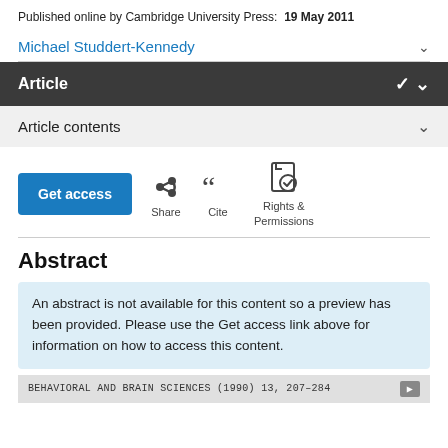Published online by Cambridge University Press:  19 May 2011
Michael Studdert-Kennedy
Article
Article contents
[Figure (infographic): Action buttons row: Get access (blue button), Share icon, Cite icon, Rights & Permissions icon]
Abstract
An abstract is not available for this content so a preview has been provided. Please use the Get access link above for information on how to access this content.
BEHAVIORAL AND BRAIN SCIENCES (1990) 13, 207-284